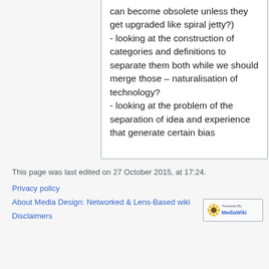can become obsolete unless they get upgraded like spiral jetty?)
- looking at the construction of categories and definitions to separate them both while we should merge those – naturalisation of technology?
- looking at the problem of the separation of idea and experience that generate certain bias
This page was last edited on 27 October 2015, at 17:24.
Privacy policy
About Media Design: Networked & Lens-Based wiki
Disclaimers